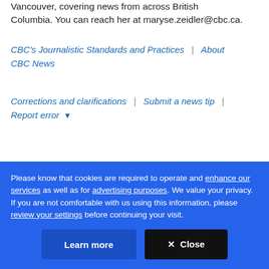Vancouver, covering news from across British Columbia. You can reach her at maryse.zeidler@cbc.ca.
CBC's Journalistic Standards and Practices | About CBC News
Corrections and clarifications | Submit a news tip | Report error ▾
RELATED STORIES
Please know that cookies are required to operate and enhance our services as well as for advertising purposes. We value your privacy. If you are not comfortable with us using this information, please review your settings before continuing your visit.
Learn more  ✕ Close